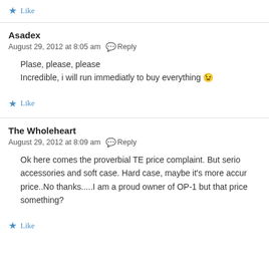★ Like
Asadex
August 29, 2012 at 8:05 am  Reply
Plase, please, please
Incredible, i will run immediatly to buy everything 😉
★ Like
The Wholeheart
August 29, 2012 at 8:09 am  Reply
Ok here comes the proverbial TE price complaint. But serio... accessories and soft case. Hard case, maybe it's more accur... price..No thanks.....I am a proud owner of OP-1 but that price... something?
★ Like